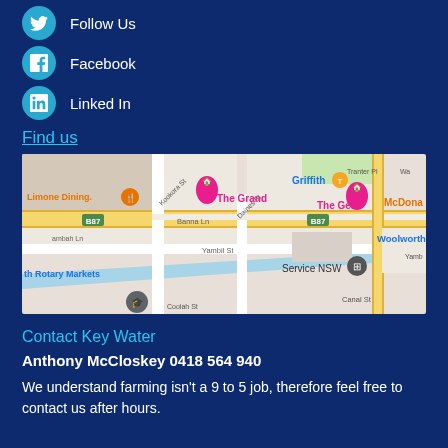Follow Us
Facebook
Linked In
Find us
[Figure (map): Google Maps showing Griffith NSW area with landmarks including Limone Dining, The Grand, Griffith T, The Gem, McDonalds, Woolworths, Service NSW, Rotary Markets, and street names including Banna Ln, Yambil St, Kookora St, Daines St, Coolah St, Canal St along B87 highway]
Contact Key Water
Anthony McCloskey 0418 564 940
We understand farming isn't a 9 to 5 job, therefore feel free to contact us after hours.